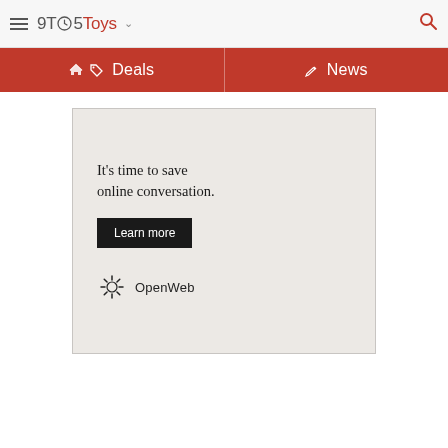9TO5Toys
Deals | News
[Figure (infographic): OpenWeb advertisement box with text 'It's time to save online conversation.' and a Learn more button, featuring the OpenWeb logo with a sunburst icon.]